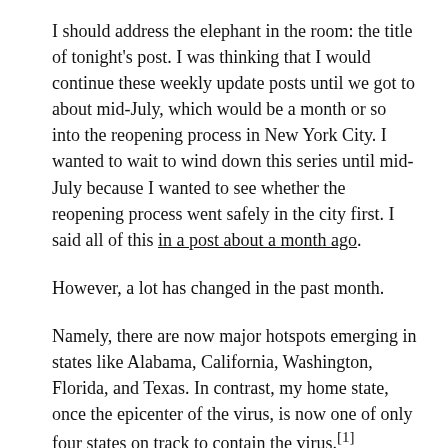I should address the elephant in the room: the title of tonight's post. I was thinking that I would continue these weekly update posts until we got to about mid-July, which would be a month or so into the reopening process in New York City. I wanted to wait to wind down this series until mid-July because I wanted to see whether the reopening process went safely in the city first. I said all of this in a post about a month ago.
However, a lot has changed in the past month.
Namely, there are now major hotspots emerging in states like Alabama, California, Washington, Florida, and Texas. In contrast, my home state, once the epicenter of the virus, is now one of only four states on track to contain the virus.[1]
This weekly update was created so that readers could